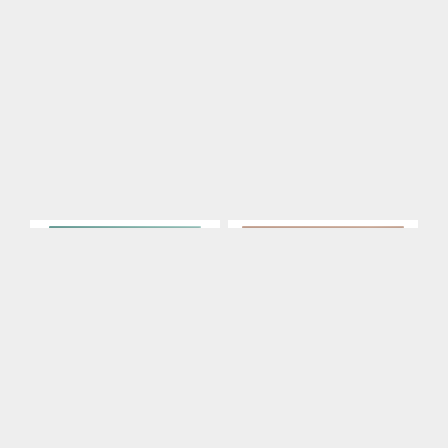[Figure (photo): Magnolia Home Lucca Rug - Floral, a red and navy blue floral patterned traditional area rug]
MAGNOLIA HOME LUCCA RUG - FLORAL
$99.00 – $1,599.00
[Figure (photo): Traditional Elegance Indoor/Outdoor Rug, a red and beige medallion patterned traditional area rug]
TRADITIONAL ELEGANCE INDOOR / OUTDOOR RUG
$42.00 – $920.00
[Figure (photo): A teal and cream floral vintage-style area rug with distressed pattern]
[Figure (photo): A blush pink/mauve solid distressed area rug with subtle texture]